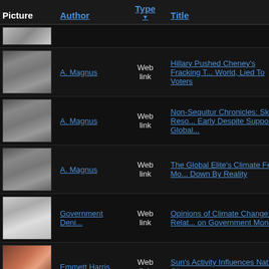| Picture | Author | Type | Title |
| --- | --- | --- | --- |
| [partial image] |  |  |  |
| [image] | A. Magnus | Web link | Hillary Pushed Cheney's Fracking T... World, Lied To Voters |
| [image] | A. Magnus | Web link | Non-Sequitur Chronicles: Ski Reso... Early Despite Supposed Global... |
| [image] | A. Magnus | Web link | The Global Elite's Climate Fear Mo... Down By Reality |
| [image] | Government Deni... | Web link | Opinions of Climate Change: Relat... on Government Money? |
| [image] | Emmett Harris | Web link | Sun's Activity Influences Natural Cli... |
| [image] | A. Magnus | Web link | PHOTOS: Everyday Americans Fac... Statist Thugs - Bunkerville Edition |
| [image] | A. Magnus | Web link | It Could Be A Mega-Drought Or We... Don't Blame Climate... |